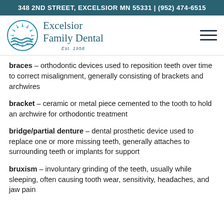348 2ND STREET, EXCELSIOR MN 55331 | (952) 474-6515
[Figure (logo): Excelsior Family Dental logo with circular sun/waves graphic and text 'Excelsior Family Dental Est. 1958']
braces – orthodontic devices used to reposition teeth over time to correct misalignment, generally consisting of brackets and archwires
bracket – ceramic or metal piece cemented to the tooth to hold an archwire for orthodontic treatment
bridge/partial denture – dental prosthetic device used to replace one or more missing teeth, generally attaches to surrounding teeth or implants for support
bruxism – involuntary grinding of the teeth, usually while sleeping, often causing tooth wear, sensitivity, headaches, and jaw pain